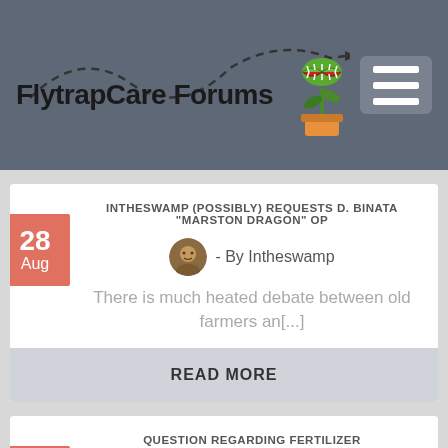FlytrapCare Forums
INTHESWAMP (POSSIBLY) REQUESTS D. BINATA "MARSTON DRAGON" OP
- By Intheswamp
There is much heated debate between old farmers an[...]
READ MORE
QUESTION REGARDING FERTILIZER
- By Dragonslayer126
Fertilizer for most carnivorous plants is not re[...]
READ MORE